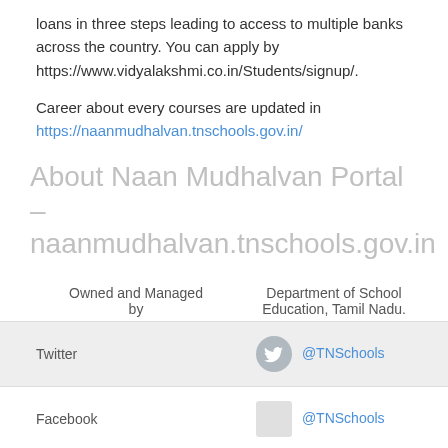loans in three steps leading to access to multiple banks across the country. You can apply by https://www.vidyalakshmi.co.in/Students/signup/.
Career about every courses are updated in https://naanmudhalvan.tnschools.gov.in/
About Naan Mudhalvan Portal – naanmudhalvan.tnschools.gov.in
| Owned and Managed by | Department of School Education, Tamil Nadu. |
| --- | --- |
| Twitter | @TNSchools |
| Facebook | @TNSchools |
Related Articles:-